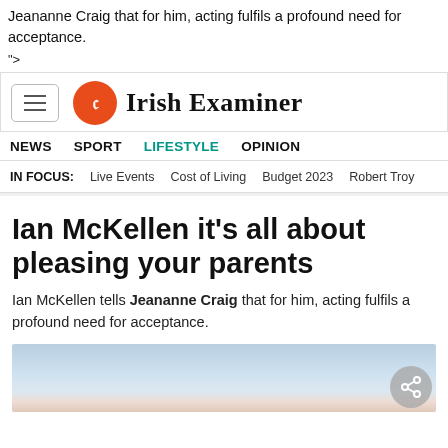Jeananne Craig that for him, acting fulfils a profound need for acceptance.
">
[Figure (logo): Irish Examiner logo with hamburger menu button, orange circular icon with stylized E, and blackletter 'Irish Examiner' text]
NEWS  SPORT  LIFESTYLE  OPINION
IN FOCUS:  Live Events  Cost of Living  Budget 2023  Robert Troy
Ian McKellen it's all about pleasing your parents
Ian McKellen tells Jeananne Craig that for him, acting fulfils a profound need for acceptance.
[Figure (photo): Partial photo of Ian McKellen at the bottom of the page]